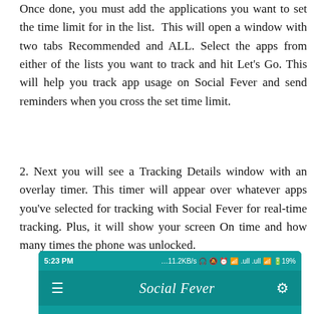Once done, you must add the applications you want to set the time limit for in the list. This will open a window with two tabs Recommended and ALL. Select the apps from either of the lists you want to track and hit Let's Go. This will help you track app usage on Social Fever and send reminders when you cross the set time limit.
2. Next you will see a Tracking Details window with an overlay timer. This timer will appear over whatever apps you've selected for tracking with Social Fever for real-time tracking. Plus, it will show your screen On time and how many times the phone was unlocked.
[Figure (screenshot): Screenshot of Social Fever app showing status bar with time 5:23 PM, 11.2KB/s, 19% battery, and the app navigation bar with hamburger menu, Social Fever title, and settings gear icon on a teal background.]